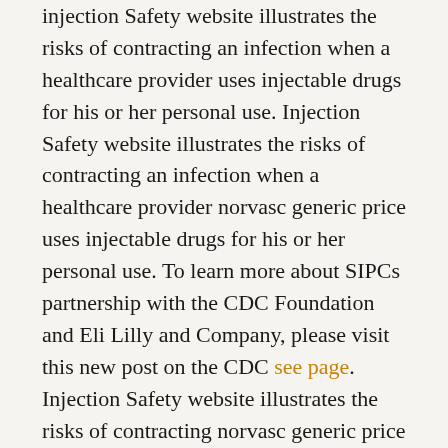injection Safety website illustrates the risks of contracting an infection when a healthcare provider uses injectable drugs for his or her personal use. Injection Safety website illustrates the risks of contracting an infection when a healthcare provider norvasc generic price uses injectable drugs for his or her personal use. To learn more about SIPCs partnership with the CDC Foundation and Eli Lilly and Company, please visit this new post on the CDC see page. Injection Safety website illustrates the risks of contracting norvasc generic price an infection when a healthcare provider uses injectable drugs for his or her personal use. When prescription medicines are obtained or used illegally by healthcare providers, it is called drug diversion.
Safe Healthcare Blog, guest author Pamela Dembski Hart, principal norvasc generic price and founder of a blog series recounting her personal observations of unsafe injection practices in healthcare settings. Only educational campaign to greatly broaden its membership base, amplify reach to new audiences, and provide new resources to targeted settings in an